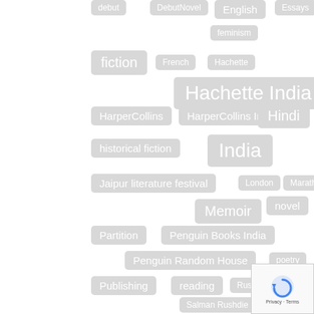[Figure (infographic): A tag cloud containing various literary and publishing-related terms rendered as pill-shaped grey tags of varying sizes, indicating relative frequency or importance. Tags include: debut, DebutNovel, English, Essays, feminism, fiction, French, Hachette, Hachette India, HarperCollins, HarperCollins India, Hindi, historical fiction, India, Jaipur literature festival, London, Marathi, Memoir, novel, Partition, Penguin Books India, Penguin Random House, poetry, Publishing, reading, Ruskin Bond, Salman Rushdie, Scholastic, Scholastic India, and more partially visible tags at bottom.]
[Figure (other): reCAPTCHA widget showing a refresh/robot icon with Privacy and Terms links.]